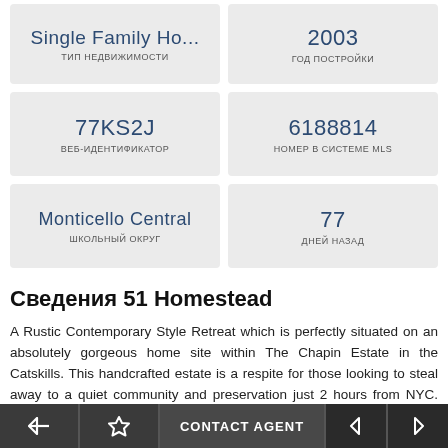Single Family Ho...
ТИП НЕДВИЖИМОСТИ
2003
ГОД ПОСТРОЙКИ
77KS2J
ВЕБ-ИДЕНТИФИКАТОР
6188814
НОМЕР В СИСТЕМЕ MLS
Monticello Central
ШКОЛЬНЫЙ ОКРУГ
77
ДНЕЙ НАЗАД
Сведения 51 Homestead
A Rustic Contemporary Style Retreat which is perfectly situated on an absolutely gorgeous home site within The Chapin Estate in the Catskills. This handcrafted estate is a respite for those looking to steal away to a quiet community and preservation just 2 hours from NYC. The open floor plan provides ample room for hosting guests. Four bedrooms & Den/Possible Bedroom and two living
CONTACT AGENT